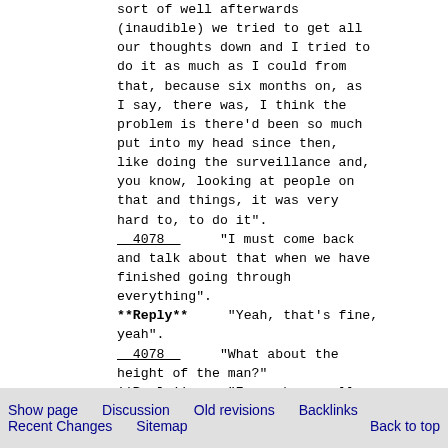sort of well afterwards (inaudible) we tried to get all our thoughts down and I tried to do it as much as I could from that, because six months on, as I say, there was, I think the problem is there'd been so much put into my head since then, like doing the surveillance and, you know, looking at people on that and things, it was very hard to, to do it". __4078__  "I must come back and talk about that when we have finished going through everything". **Reply**  "Yeah, that's fine, yeah". __4078__  "What about the height of the man?" **Reply**  "Erm, phew, well, you know, I did it on the, I sort of pointed out where it was on the person that interviewed
Show page   Discussion   Old revisions   Backlinks
Recent Changes   Sitemap   Back to top